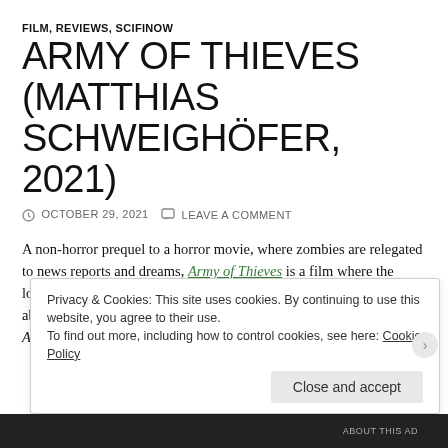FILM, REVIEWS, SCIFINOW
ARMY OF THIEVES (MATTHIAS SCHWEIGHÖFER, 2021)
OCTOBER 29, 2021   LEAVE A COMMENT
A non-horror prequel to a horror movie, where zombies are relegated to news reports and dreams, Army of Thieves is a film where the logic behind its existence is ultimately more interesting to think about than anything presented on screen. That said, this spinoff of Army of the Dead is somewhat
Privacy & Cookies: This site uses cookies. By continuing to use this website, you agree to their use.
To find out more, including how to control cookies, see here: Cookie Policy
Close and accept